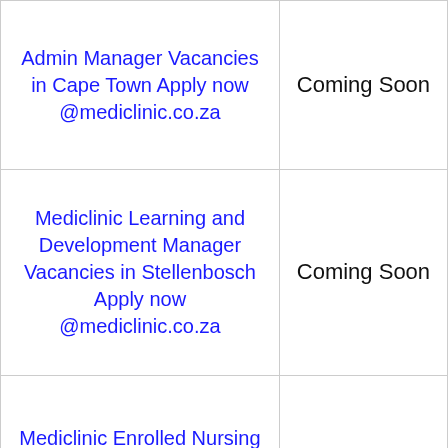| Job Title | Status |
| --- | --- |
| Admin Manager Vacancies in Cape Town Apply now @mediclinic.co.za | Coming Soon |
| Mediclinic Learning and Development Manager Vacancies in Stellenbosch Apply now @mediclinic.co.za | Coming Soon |
| Mediclinic Enrolled Nursing Auxiliary Jobs in Bloemfontein Apply now @mediclinic.co.za | Coming Soon |